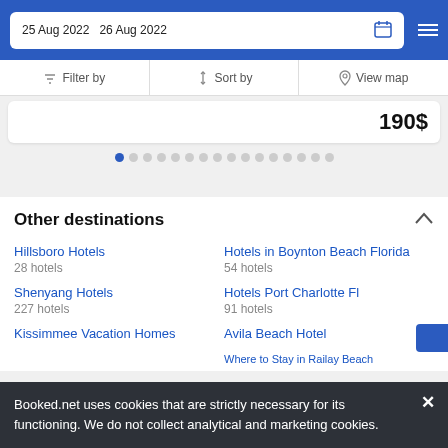25 Aug 2022  26 Aug 2022
Filter by  Sort by  View map
190$
Other destinations
Hillsboro Hotels
28 hotels
Hotels in Boynton Beach Florida
54 hotels
Shenyang Hotels
227 hotels
Hotels Port Charlotte Fl
91 hotels
Kissimmee Vacation Homes
Avila Beach Hotel
Where to Stay in Railay Beach
Booked.net uses cookies that are strictly necessary for its functioning. We do not collect analytical and marketing cookies.